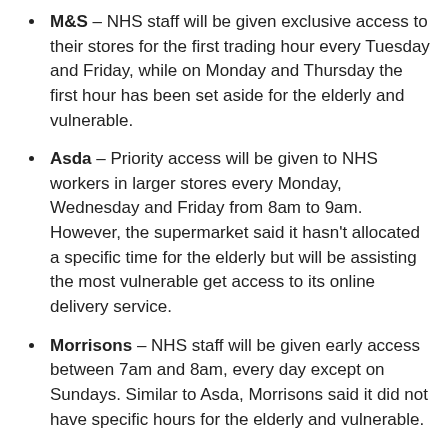M&S – NHS staff will be given exclusive access to their stores for the first trading hour every Tuesday and Friday, while on Monday and Thursday the first hour has been set aside for the elderly and vulnerable.
Asda – Priority access will be given to NHS workers in larger stores every Monday, Wednesday and Friday from 8am to 9am. However, the supermarket said it hasn't allocated a specific time for the elderly but will be assisting the most vulnerable get access to its online delivery service.
Morrisons – NHS staff will be given early access between 7am and 8am, every day except on Sundays. Similar to Asda, Morrisons said it did not have specific hours for the elderly and vulnerable.
Food Deliveries